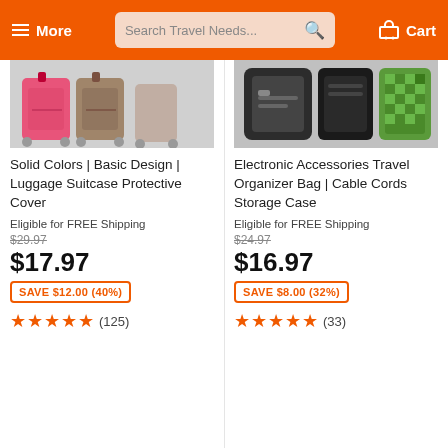More | Search Travel Needs... | Cart
[Figure (photo): Product image of colorful luggage suitcase covers in pink, brown/taupe colors]
Solid Colors | Basic Design | Luggage Suitcase Protective Cover
Eligible for FREE Shipping
$29.97
$17.97
SAVE $12.00 (40%)
★★★★★ (125)
[Figure (photo): Product image of electronic accessories travel organizer bag and cable cord storage case in black and green checked pattern]
Electronic Accessories Travel Organizer Bag | Cable Cords Storage Case
Eligible for FREE Shipping
$24.97
$16.97
SAVE $8.00 (32%)
★★★★★ (33)